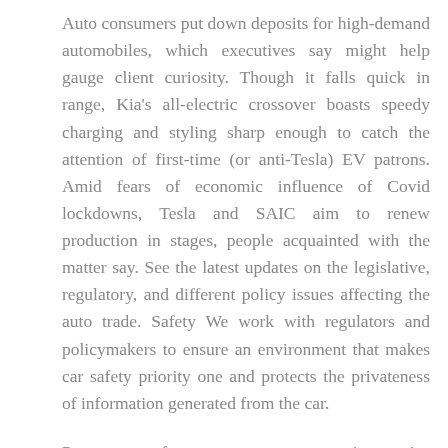Auto consumers put down deposits for high-demand automobiles, which executives say might help gauge client curiosity. Though it falls quick in range, Kia's all-electric crossover boasts speedy charging and styling sharp enough to catch the attention of first-time (or anti-Tesla) EV patrons. Amid fears of economic influence of Covid lockdowns, Tesla and SAIC aim to renew production in stages, people acquainted with the matter say. See the latest updates on the legislative, regulatory, and different policy issues affecting the auto trade. Safety We work with regulators and policymakers to ensure an environment that makes car safety priority one and protects the privateness of information generated from the car.
Prepares you for a career as an automotive service technician or to go on to considered one of WSU's Automotive Technology bachelor's packages. Our White Papers are written by main trade specialists